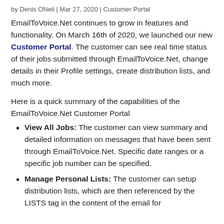by Denis ONeil | Mar 27, 2020 | Customer Portal
EmailToVoice.Net continues to grow in features and functionality. On March 16th of 2020, we launched our new Customer Portal. The customer can see real time status of their jobs submitted through EmailToVoice.Net, change details in their Profile settings, create distribution lists, and much more.
Here is a quick summary of the capabilities of the EmailToVoice.Net Customer Portal
View All Jobs: The customer can view summary and detailed information on messages that have been sent through EmailToVoice.Net. Specific date ranges or a specific job number can be specified.
Manage Personal Lists: The customer can setup distribution lists, which are then referenced by the LISTS tag in the content of the email for